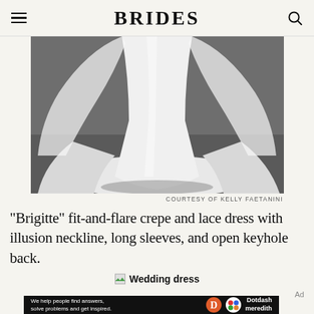BRIDES
[Figure (photo): Close-up of a white bridal gown with a flowing train and sheer veil, photographed against a gray background. Only the lower portion of the dress and veil are visible.]
COURTESY OF KELLY FAETANINI
"Brigitte" fit-and-flare crepe and lace dress with illusion neckline, long sleeves, and open keyhole back.
Wedding dress
Ad
[Figure (infographic): Dotdash Meredith advertisement banner reading: We help people find answers, solve problems and get inspired.]